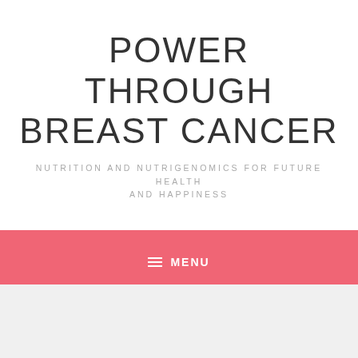POWER THROUGH BREAST CANCER
NUTRITION AND NUTRIGENOMICS FOR FUTURE HEALTH AND HAPPINESS
≡ MENU